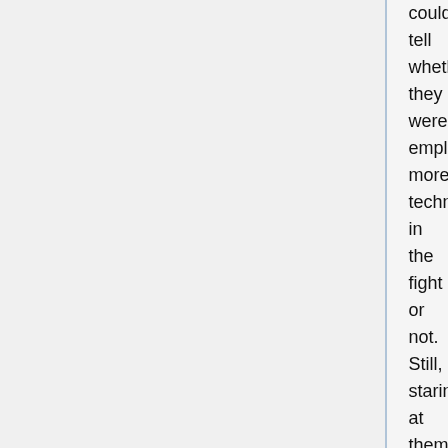couldn't tell whether they were employing more techniques in the fight or not. Still, staring at them might not be entirely meaningless.
A loud rumbling sounded. A sound that she had been ignoring. In one split second, that sound came to her through the flake and shook her core. It flowed into her brain along with other information and shook her eardrums. The huge pressure brought her an unusual feeling of despair. The gigantic multi-legs of a city were chasing after Layfon and Savaris, its shadow covering everything around it, making everything dimmer and dimmer. Grendan was chasing those two, and it was getting closer to Zuellni.
The two fighters separated. Savaris laughed. Layfon's face showed a